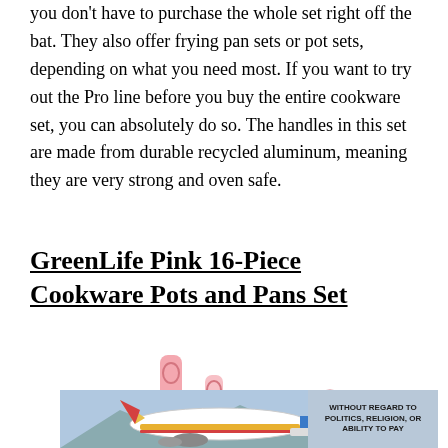you don't have to purchase the whole set right off the bat. They also offer frying pan sets or pot sets, depending on what you need most. If you want to try out the Pro line before you buy the entire cookware set, you can absolutely do so. The handles in this set are made from durable recycled aluminum, meaning they are very strong and oven safe.
GreenLife Pink 16-Piece Cookware Pots and Pans Set
[Figure (photo): Pink cookware set showing pots and pans with pink handles and lids, partially overlaid by an advertisement image of an airplane being loaded with cargo with text 'WITHOUT REGARD TO POLITICS, RELIGION, OR ABILITY TO PAY']